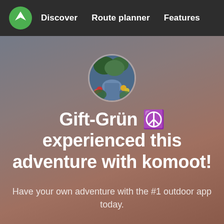Discover   Route planner   Features
[Figure (photo): Circular avatar photo showing a colorful garden path with blue, red, and yellow flowers and green trees]
Gift-Grün ☮️ experienced this adventure with komoot!
Have your own adventure with the #1 outdoor app today.